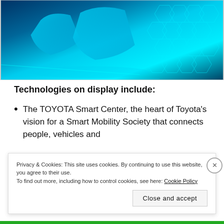[Figure (photo): Futuristic car interior or concept vehicle display with cyan/teal lighting and geometric honeycomb patterns in the background, shown in a exhibition-style setting.]
Technologies on display include:
The TOYOTA Smart Center, the heart of Toyota’s vision for a Smart Mobility Society that connects people, vehicles and
Privacy & Cookies: This site uses cookies. By continuing to use this website, you agree to their use.
To find out more, including how to control cookies, see here: Cookie Policy
Close and accept